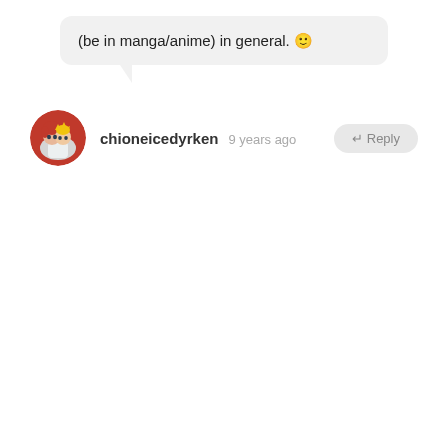(be in manga/anime) in general. 🙂
chioneicedyrken  9 years ago  ↵ Reply